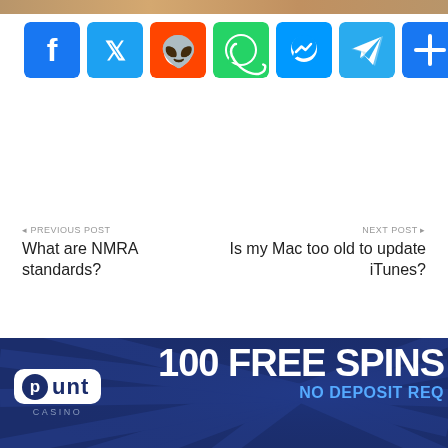[Figure (other): Top partial image bar showing bottom edge of a photo]
[Figure (infographic): Social media share buttons: Facebook (blue), Twitter (blue), Reddit (orange-red), WhatsApp (green), Messenger (blue), Telegram (blue), Share/More (blue)]
PREVIOUS POST
What are NMRA standards?
NEXT POST
Is my Mac too old to update iTunes?
RECENT POSTS
[Figure (infographic): Punt Casino advertisement banner: dark navy background with light rays, Punt Casino logo on left, '100 FREE SPINS NO DEPOSIT REQ' text on right in white and blue]